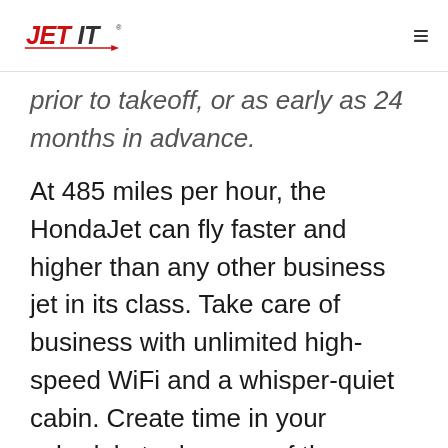JET IT [logo] ☰
prior to takeoff, or as early as 24 months in advance.
At 485 miles per hour, the HondaJet can fly faster and higher than any other business jet in its class. Take care of business with unlimited high-speed WiFi and a whisper-quiet cabin. Create time in your schedule to do more of the activities you love with the people you cherish most.
Business? Pleasure? Getaway with your four-legged best friend? Yes. Because with